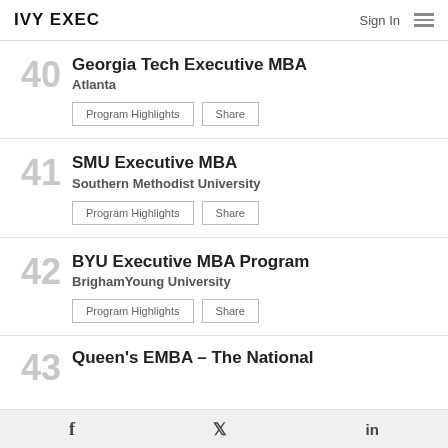IVY EXEC | Sign In
40 Georgia Tech Executive MBA Atlanta — Program Highlights | Share
41 SMU Executive MBA Southern Methodist University — Program Highlights | Share
42 BYU Executive MBA Program Brigham Young University — Program Highlights | Share
43 Queen's EMBA – The National
f  Twitter  in